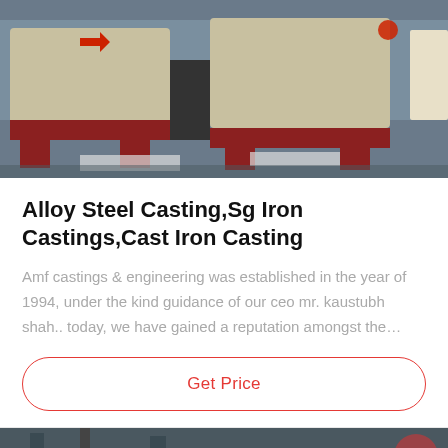[Figure (photo): Industrial machinery — large machines with red and cream colored casings on a factory floor]
Alloy Steel Casting,Sg Iron Castings,Cast Iron Casting
Amf castings & engineering was established in the year of 1994, under the kind guidance of our ceo mr. kaustubh shah.. today, we have gained a reputation amongst the…
Get Price
[Figure (photo): Industrial factory interior with machinery and equipment]
Leave Message
Chat Online